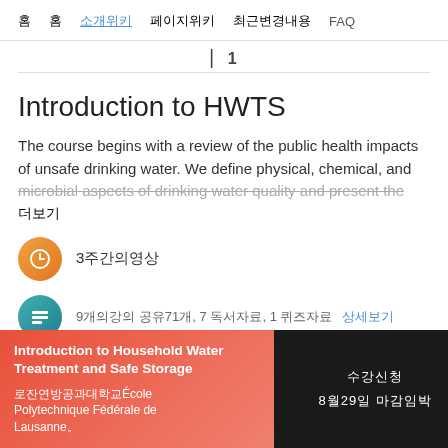주요 위키 소개위키 페이지 최근변경 FAQ
주 1
Introduction to HWTS
The course begins with a review of the public health impacts of unsafe drinking water. We define physical, chemical, and microbial aspects of drinking water quality and present the
더보기
3주간의영상
9개의강의 공유71개, 7 독서자료, 1 퀴즈자료 상세보기
Introduction to Household Water Treatment and Safe Storage
로잔연방공과대학교École Polytechnique Fédérale de Lausanne。
수강신청
8월29일 마감임박